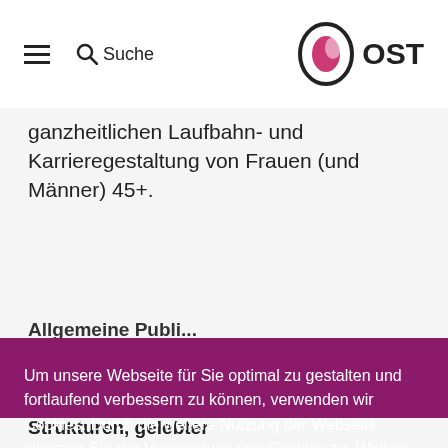≡  🔍 Suche   OST
ganzheitlichen Laufbahn- und Karrieregestaltung von Frauen (und Männer) 45+.
Allgemeine Publi...
...rnehmen: ...ung
...und ...uch wie vor ...sität in der ...eitung wäre ...sionalität der ...n, aber auch ...anken aktuell
beträchtlich. Je nach Inhaberschaft, Strukturen, gelebter
Um unsere Webseite für Sie optimal zu gestalten und fortlaufend verbessern zu können, verwenden wir Cookies. Durch die weitere Nutzung der Webseite stimmen Sie der Verwendung von Cookies zu. Weitere Informationen zu Cookies erhalten Sie in unserer Datenschutzerklärung.
Ich stimme zu!